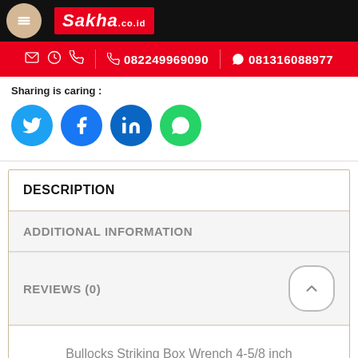[Figure (logo): Sakha.co.id logo on black header bar with circular avatar icon]
082249969090  081316088977
Sharing is caring :
[Figure (infographic): Social sharing buttons: Twitter (blue), Facebook (blue), LinkedIn (dark blue), WhatsApp (green)]
DESCRIPTION
ADDITIONAL INFORMATION
REVIEWS (0)
Bullocks Striking Box Wrench 4-5/8 inch